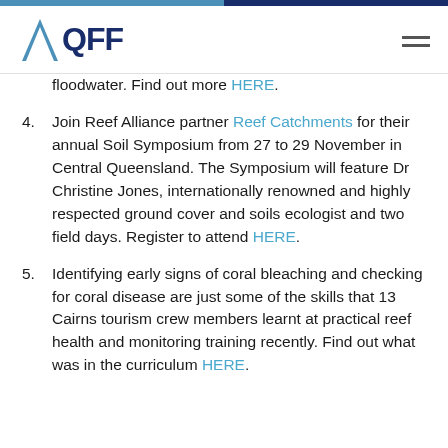QFF logo and navigation header
floodwater. Find out more HERE.
4. Join Reef Alliance partner Reef Catchments for their annual Soil Symposium from 27 to 29 November in Central Queensland. The Symposium will feature Dr Christine Jones, internationally renowned and highly respected ground cover and soils ecologist and two field days. Register to attend HERE.
5. Identifying early signs of coral bleaching and checking for coral disease are just some of the skills that 13 Cairns tourism crew members learnt at practical reef health and monitoring training recently. Find out what was in the curriculum HERE.